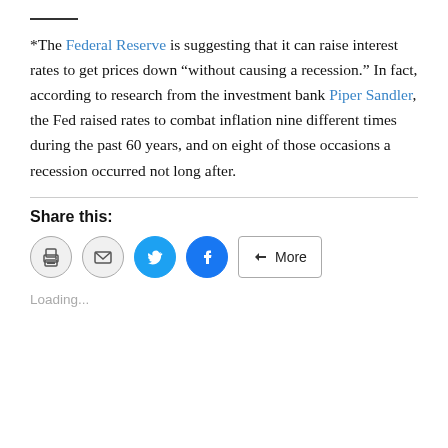*The Federal Reserve is suggesting that it can raise interest rates to get prices down “without causing a recession.” In fact, according to research from the investment bank Piper Sandler, the Fed raised rates to combat inflation nine different times during the past 60 years, and on eight of those occasions a recession occurred not long after.
Share this:
[Figure (other): Social share buttons: print, email, Twitter, Facebook, and More]
Loading...